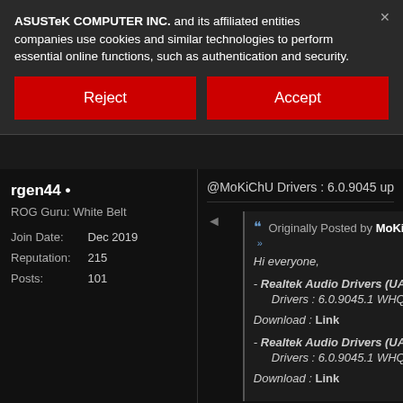ASUSTeK COMPUTER INC. and its affiliated entities companies use cookies and similar technologies to perform essential online functions, such as authentication and security.
Reject
Accept
rgen44 •
ROG Guru: White Belt
Join Date: Dec 2019
Reputation: 215
Posts: 101
@MoKiChU Drivers : 6.0.9045 update
Originally Posted by MoKiChU
Hi everyone,
- Realtek Audio Drivers (UAD - AS
        Drivers : 6.0.9045.1 WHQL
Download : Link
- Realtek Audio Drivers (UAD - AS
        Drivers : 6.0.9045.1 WHQL
Download : Link